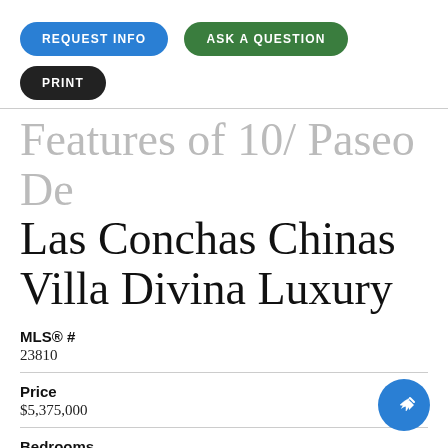REQUEST INFO
ASK A QUESTION
PRINT
Features of 10/ Paseo De Las Conchas Chinas Villa Divina Luxury
MLS® #
23810
Price
$5,375,000
Bedrooms